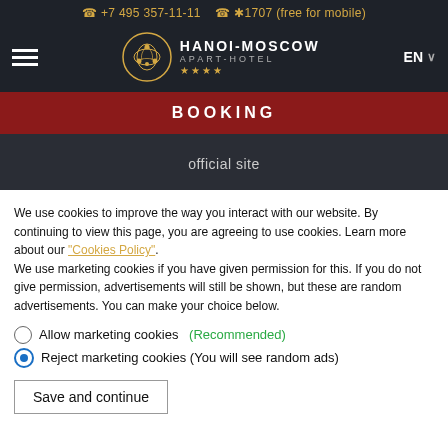+7 495 357-11-11   *1707 (free for mobile)
[Figure (logo): Hanoi-Moscow Apart-Hotel logo with circular emblem, hotel name, and 4 stars]
BOOKING
official site
We use cookies to improve the way you interact with our website. By continuing to view this page, you are agreeing to use cookies. Learn more about our "Cookies Policy". We use marketing cookies if you have given permission for this. If you do not give permission, advertisements will still be shown, but these are random advertisements. You can make your choice below.
Allow marketing cookies (Recommended)
Reject marketing cookies (You will see random ads)
Save and continue